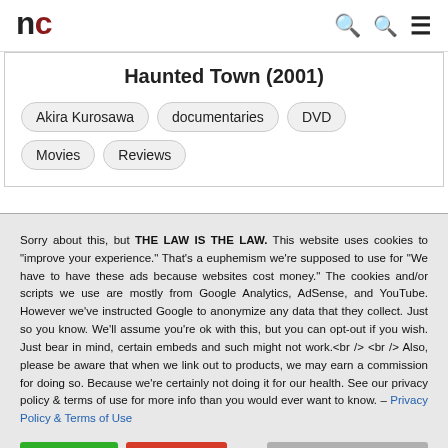nc — navigation bar with logo and icons
Haunted Town (2001)
Akira Kurosawa
documentaries
DVD
Movies
Reviews
Sorry about this, but THE LAW IS THE LAW. This website uses cookies to "improve your experience." That's a euphemism we're supposed to use for "We have to have these ads because websites cost money." The cookies and/or scripts we use are mostly from Google Analytics, AdSense, and YouTube. However we've instructed Google to anonymize any data that they collect. Just so you know. We'll assume you're ok with this, but you can opt-out if you wish. Just bear in mind, certain embeds and such might not work.<br /> <br /> Also, please be aware that when we link out to products, we may earn a commission for doing so. Because we're certainly not doing it for our health. See our privacy policy & terms of use for more info than you would ever want to know. – Privacy Policy & Terms of Use